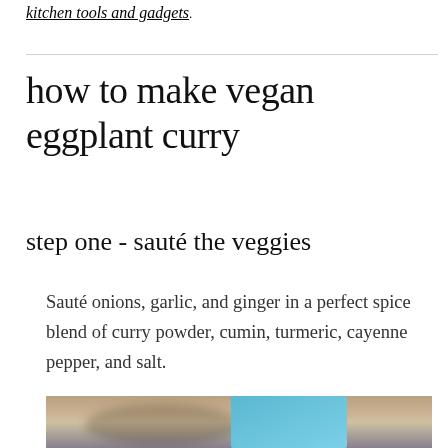kitchen tools and gadgets.
how to make vegan eggplant curry
step one - sauté the veggies
Sauté onions, garlic, and ginger in a perfect spice blend of curry powder, cumin, turmeric, cayenne pepper, and salt.
[Figure (photo): Photo of ingredients or cooking process for vegan eggplant curry, partially visible at bottom of page]